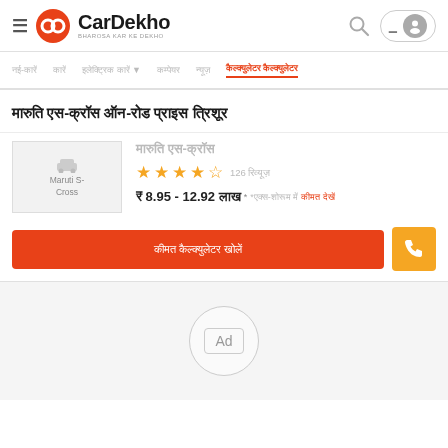CarDekho - BHAROSA KAR KE DEKHO
नई-कारें | कारें | इलेक्ट्रिक कारें ▾ | कम्पेयर | न्यूज़ | कैल्क्युलेटर कैल्क्युलेटर
मारुति एस-क्रॉस ऑन-रोड प्राइस त्रिशूर
मारुति एस-क्रॉस
★★★★½ 126 रिव्यूज़
₹ 8.95 - 12.92 लाख* *एक्स-शोरूम में कीमत देखें
[Figure (other): Maruti S-Cross car image placeholder]
कीमत कैल्क्युलेटर खोलें
[Figure (other): Ad badge circle]